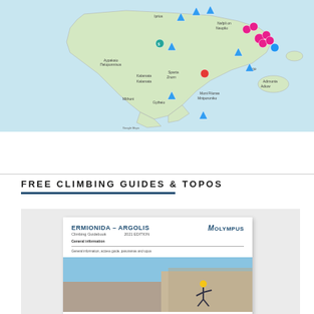[Figure (map): Map of southern Greece (Peloponnese region) showing climbing locations marked with icons including blue triangles, red/pink icons, and teal markers. Locations include Nafplio, Sparta, Kalamata, Argolis and surrounding areas on a light blue/green OpenStreetMap background.]
FREE CLIMBING GUIDES & TOPOS
[Figure (photo): Photo of a climbing guidebook cover titled 'ERMIONIDA – ARGOLIS Climbing Guidebook 2021 EDITION' with MOLYMPUS branding, showing general information section and a photo of a climber on a rock face.]